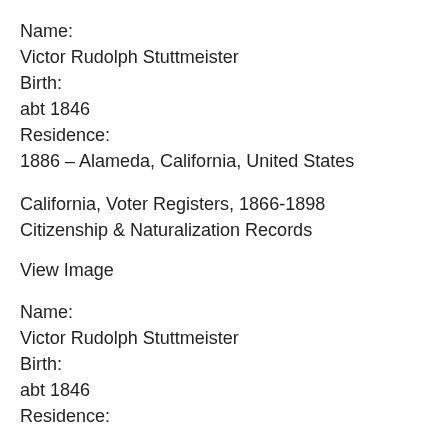Name:
Victor Rudolph Stuttmeister
Birth:
abt 1846
Residence:
1886 – Alameda, California, United States
California, Voter Registers, 1866-1898
Citizenship & Naturalization Records
View Image
Name:
Victor Rudolph Stuttmeister
Birth:
abt 1846
Residence: